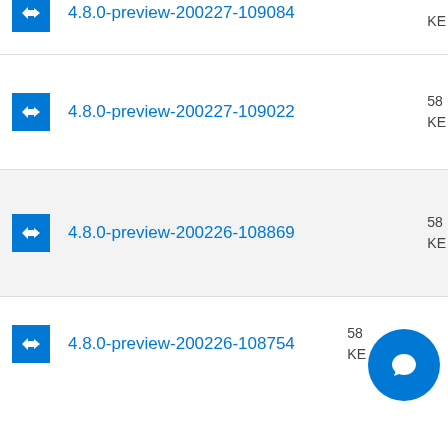4.8.0-preview-200227-109084
4.8.0-preview-200227-109022
4.8.0-preview-200226-108869
4.8.0-preview-200226-108754